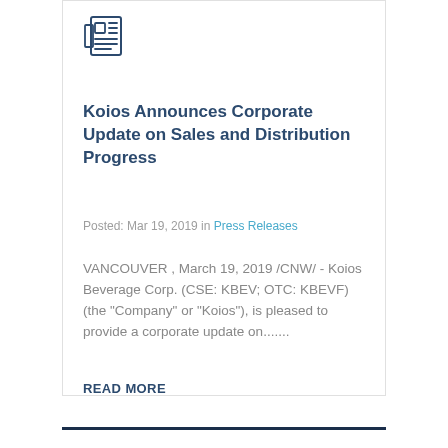[Figure (illustration): Newspaper/document icon in outline style, dark navy color]
Koios Announces Corporate Update on Sales and Distribution Progress
Posted: Mar 19, 2019 in Press Releases
VANCOUVER , March 19, 2019 /CNW/ - Koios Beverage Corp. (CSE: KBEV; OTC: KBEVF) (the "Company" or "Koios"), is pleased to provide a corporate update on.......
READ MORE